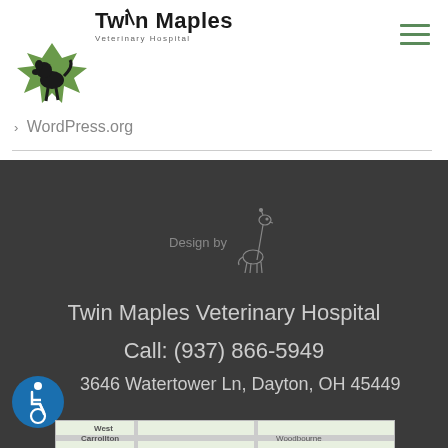[Figure (logo): Twin Maples Veterinary Hospital logo with a black silhouette of a maple leaf with a dog shape inside it]
Twin Maples
Veterinary Hospital
[Figure (illustration): Hamburger/menu icon with three green horizontal lines]
> WordPress.org
Design by [giraffe logo]
Twin Maples Veterinary Hospital
Call: (937) 866-5949
[Figure (illustration): Accessibility icon — blue circle with white wheelchair user symbol]
3646 Watertower Ln, Dayton, OH 45449
[Figure (map): Google Maps partial view showing West Carrollton and Woodbourne areas near Dayton OH]